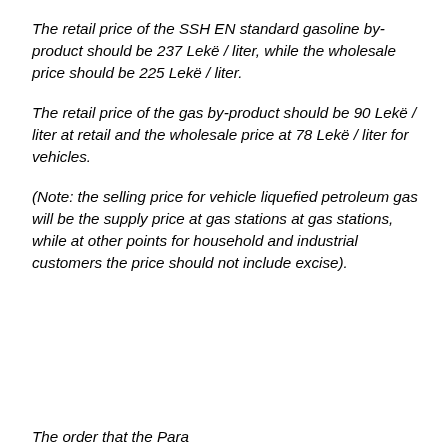The retail price of the SSH EN standard gasoline by-product should be 237 Lekë / liter, while the wholesale price should be 225 Lekë / liter.
The retail price of the gas by-product should be 90 Lekë / liter at retail and the wholesale price at 78 Lekë / liter for vehicles.
(Note: the selling price for vehicle liquefied petroleum gas will be the supply price at gas stations at gas stations, while at other points for household and industrial customers the price should not include excise).
The order that the Paragraph list takes effect to be...